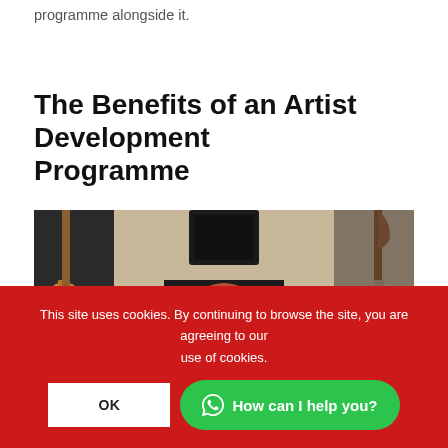programme alongside it.
The Benefits of an Artist Development Programme
[Figure (photo): A young man with red/auburn hair sitting in a music studio surrounded by guitars, a Marshall amplifier, and audio equipment.]
This site uses cookies. By continuing to browse the site, you are agreeing to our use of cookies.
OK
How can I help you?